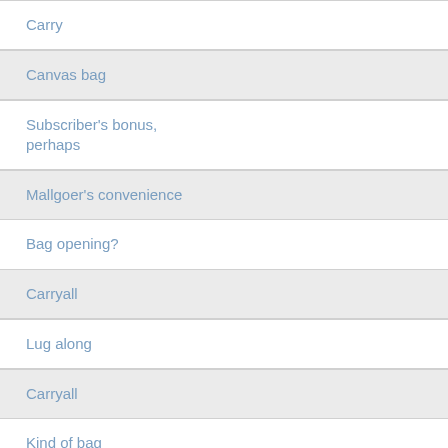Carry
Canvas bag
Subscriber's bonus, perhaps
Mallgoer's convenience
Bag opening?
Carryall
Lug along
Carryall
Kind of bag